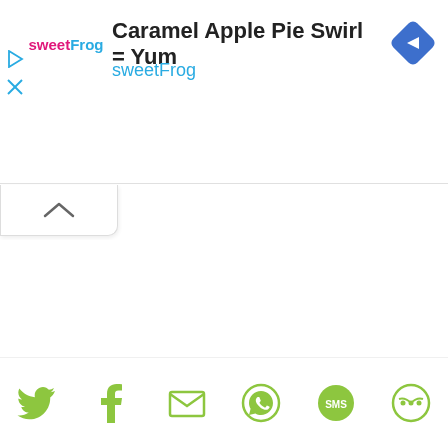[Figure (screenshot): sweetFrog brand logo with pink 'sweet' and blue 'Frog' text]
Caramel Apple Pie Swirl = Yum
sweetFrog
[Figure (other): Blue diamond-shaped navigation/share icon with right-turn arrow]
[Figure (other): Collapsed panel tab with chevron-up arrow]
[Figure (other): Bottom share bar with social media icons: Twitter, Facebook, Email, WhatsApp, SMS, and another share icon, all in olive/green color]